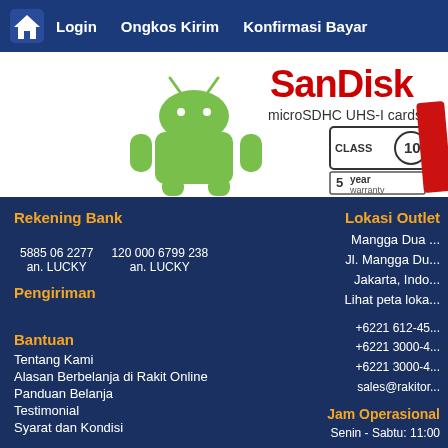Home | Login | Ongkos Kirim | Konfirmasi Bayar
[Figure (screenshot): SanDisk microSDHC UHS-I cards CLASS 10, 5 year warranty advertisement banner with Android robot mascot]
Rekening Bank
5885 06 2277 an. LUCKY | 120 000 6799 238 an. LUCKY
Pengiriman
Bantuan
Tentang Kami
Alasan Berbelanja di Rakit Online
Panduan Belanja
Testimonial
Syarat dan Kondisi
Lokasi Outlet
Mangga Dua
Jl. Mangga Du...
Jakarta, Indo...
Lihat peta loka...
+6221 612-45...
+6221 3000-4...
+6221 3000-4...
sales@rakitor...
Jam Operasional
Senin - Sabtu: 11:00
Minggu / Libur Nasio...